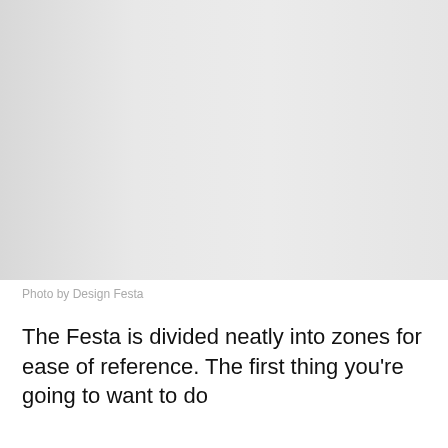[Figure (photo): A large gray placeholder image representing a photo by Design Festa]
Photo by Design Festa
The Festa is divided neatly into zones for ease of reference. The first thing you're going to want to do